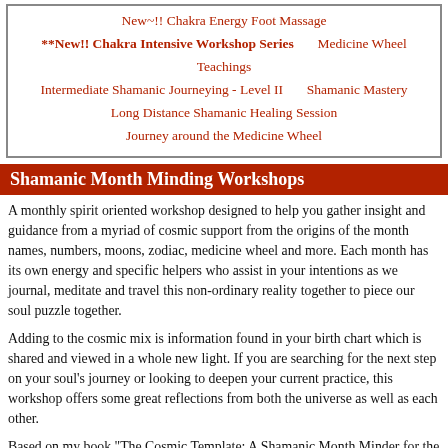New~!! Chakra Energy Foot Massage
**New!! Chakra Intensive Workshop Series        Medicine Wheel Teachings
Intermediate Shamanic Journeying - Level II        Shamanic Mastery
Long Distance Shamanic Healing Session
Journey around the Medicine Wheel
Shamanic Month Minding Workshops
A monthly spirit oriented workshop designed to help you gather insight and guidance from a myriad of cosmic support from the origins of the month names, numbers, moons, zodiac, medicine wheel and more. Each month has its own energy and specific helpers who assist in your intentions as we journal, meditate and travel this non-ordinary reality together to piece our soul puzzle together.
Adding to the cosmic mix is information found in your birth chart which is shared and viewed in a whole new light. If you are searching for the next step on your soul's journey or looking to deepen your current practice, this workshop offers some great reflections from both the universe as well as each other.
Based on my book "The Cosmic Template; A Shamanic Month Minder for the Evolving Soul", this workshop evolved from my own daily practice and medicine teachings gathered over many years.